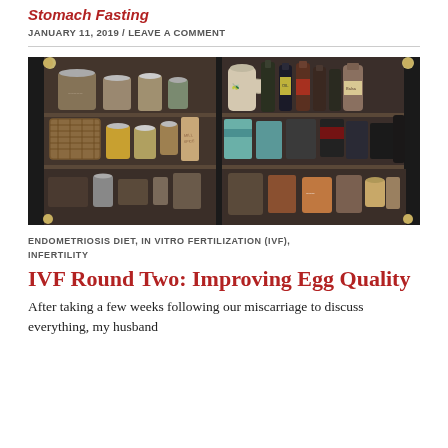Stomach Fasting
JANUARY 11, 2019 / LEAVE A COMMENT
[Figure (photo): Open kitchen pantry cabinet showing two sides filled with jars, bottles of oil, spices, packaged goods, and pantry staples on dark shelves]
ENDOMETRIOSIS DIET, IN VITRO FERTILIZATION (IVF), INFERTILITY
IVF Round Two: Improving Egg Quality
After taking a few weeks following our miscarriage to discuss everything, my husband